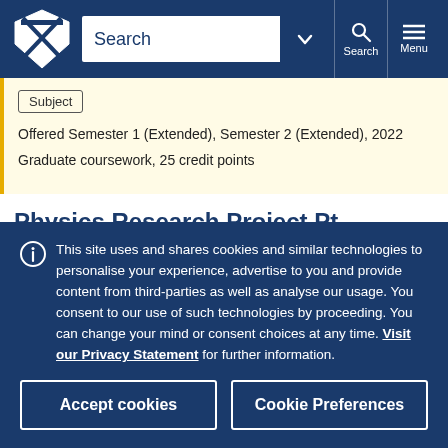[Figure (screenshot): University of Melbourne website navigation bar with logo, search bar, search button, and menu button on dark blue background]
Subject
Offered Semester 1 (Extended), Semester 2 (Extended), 2022
Graduate coursework, 25 credit points
Physics Research Project Pt 3  PHYC90040
This site uses and shares cookies and similar technologies to personalise your experience, advertise to you and provide content from third-parties as well as analyse our usage. You consent to our use of such technologies by proceeding. You can change your mind or consent choices at any time. Visit our Privacy Statement for further information.
Accept cookies
Cookie Preferences